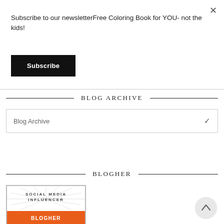Subscribe to our newsletterFree Coloring Book for YOU- not the kids!
Subscribe
BLOG ARCHIVE
Blog Archive
BLOGHER
[Figure (logo): BlogHer Social Media Influencer badge with sunburst design and orange banner at bottom]